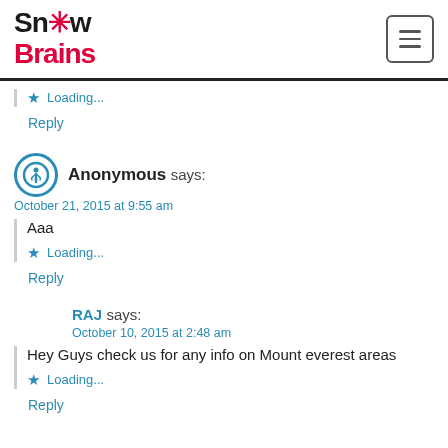SnowBrains
Loading...
Reply
Anonymous says:
October 21, 2015 at 9:55 am
Aaa
Loading...
Reply
RAJ says:
October 10, 2015 at 2:48 am
Hey Guys check us for any info on Mount everest areas
Loading...
Reply